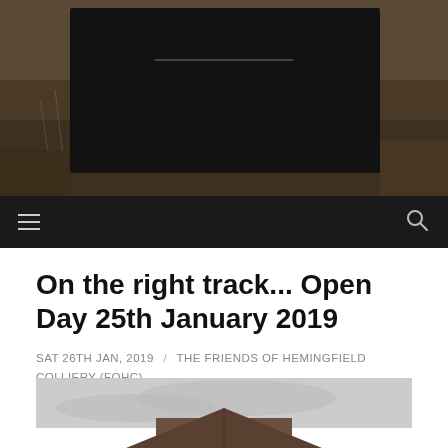[Figure (photo): Website header banner showing a dark overlay with vegetation/undergrowth in background]
[Figure (screenshot): Navigation bar with hamburger menu icon on the left and search icon on the right, dark background]
On the right track... Open Day 25th January 2019
SAT 26TH JAN, 2019 / THE FRIENDS OF HEMINGFIELD COLLIERY (FOHC)
[Figure (photo): Partial photo of a building structure against a grey cloudy sky, cut off at bottom of page]